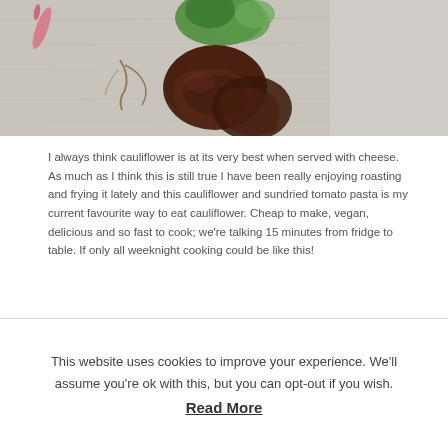[Figure (photo): Food photograph showing sundried tomatoes, fresh herbs/lettuce, and a pink/red chili or radish on a wooden cutting board surface]
I always think cauliflower is at its very best when served with cheese. As much as I think this is still true I have been really enjoying roasting and frying it lately and this cauliflower and sundried tomato pasta is my current favourite way to eat cauliflower. Cheap to make, vegan, delicious and so fast to cook; we're talking 15 minutes from fridge to table. If only all weeknight cooking could be like this!
INGREDIENTS
This website uses cookies to improve your experience. We'll assume you're ok with this, but you can opt-out if you wish. Read More